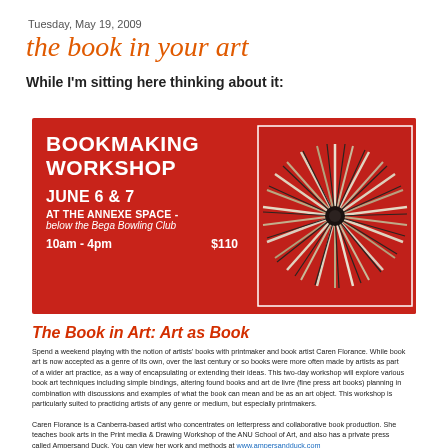Tuesday, May 19, 2009
the book in your art
While I'm sitting here thinking about it:
[Figure (infographic): Red bookmaking workshop flyer with white text: BOOKMAKING WORKSHOP, JUNE 6 & 7, AT THE ANNEXE SPACE - below the Bega Bowling Club, 10am - 4pm $110. Right side has a photo of a book fanned out in a starburst pattern on a red background.]
The Book in Art: Art as Book
Spend a weekend playing with the notion of artists' books with printmaker and book artist Caren Florance. While book art is now accepted as a genre of its own, over the last century or so books were more often made by artists as part of a wider art practice, as a way of encapsulating or extending their ideas. This two-day workshop will explore various book art techniques including simple bindings, altering found books and art de livre (fine press art books) planning in combination with discussions and examples of what the book can mean and be as an art object. This workshop is particularly suited to practicing artists of any genre or medium, but especially printmakers.
Caren Florance is a Canberra-based artist who concentrates on letterpress and collaborative book production. She teaches book arts in the Print media & Drawing Workshop of the ANU School of Art, and also has a private press called Ampersand Duck. You can view her work and methods at www.ampersandduck.com